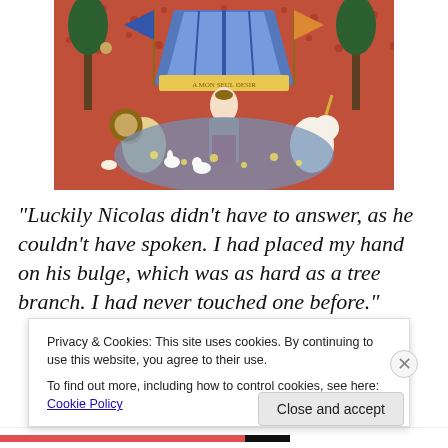[Figure (photo): Medieval tapestry depicting the Lady and the Unicorn scene with a noblewoman in a tent, flanked by a lion and unicorn, with deer and trees on a red floral background]
“Luckily Nicolas didn’t have to answer, as he couldn’t have spoken. I had placed my hand on his bulge, which was as hard as a tree branch. I had never touched one before.”
Privacy & Cookies: This site uses cookies. By continuing to use this website, you agree to their use.
To find out more, including how to control cookies, see here: Cookie Policy
Close and accept